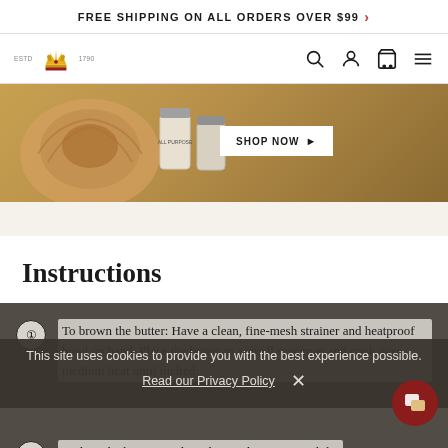FREE SHIPPING ON ALL ORDERS OVER $99 >
[Figure (logo): King Arthur Baking Company logo: crown with wheat motif, ESTD 1790]
[Figure (screenshot): Hero product image with baking items and a SHOP NOW button]
Instructions
1. To brown the butter: Have a clean, fine-mesh strainer and heatproof bowl on hand. Place the butter in a small saucepan and cook over medium heat until melted.
This site uses cookies to provide you with the best experience possible. Read our Privacy Policy
2. Reduce the heat to medium-low and simmer until the